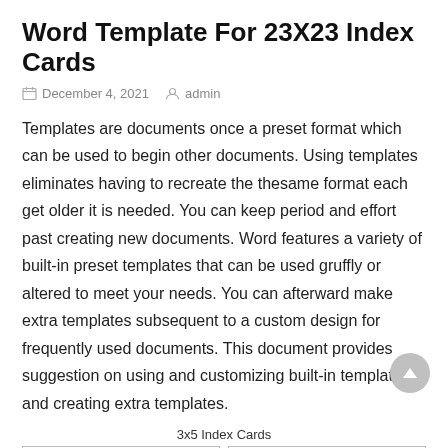Word Template For 23X23 Index Cards
December 4, 2021   admin
Templates are documents once a preset format which can be used to begin other documents. Using templates eliminates having to recreate the thesame format each get older it is needed. You can keep period and effort past creating new documents. Word features a variety of built-in preset templates that can be used gruffly or altered to meet your needs. You can afterward make extra templates subsequent to a custom design for frequently used documents. This document provides suggestion on using and customizing built-in templates and creating extra templates.
3x5 Index Cards